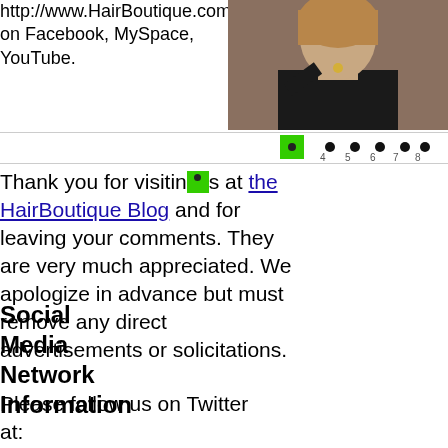http://www.HairBoutique.com on Facebook, MySpace, YouTube.
[Figure (photo): Photo of a woman in a black dress with jewelry, cropped from shoulders up]
[Figure (other): Pagination bar with green highlighted box (page 3 selected), dots, and page numbers 4 through 10]
Thank you for visiting us at the HairBoutique Blog and for leaving your comments. They are very much appreciated. We apologize in advance but must remove any direct advertisements or solicitations.
Social Media Network Information
Please follow us on Twitter at: https://Twitter.com/HairBoutique.